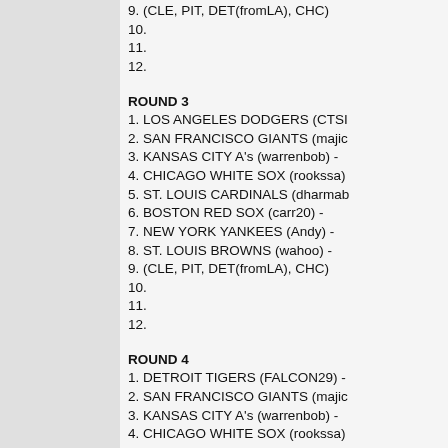9. (CLE, PIT, DET(fromLA), CHC)
10.
11.
12.
ROUND 3
1. LOS ANGELES DODGERS (CTSI...
2. SAN FRANCISCO GIANTS (majic...
3. KANSAS CITY A's (warrenbob) -
4. CHICAGO WHITE SOX (rookssa)
5. ST. LOUIS CARDINALS (dharmab...
6. BOSTON RED SOX (carr20) -
7. NEW YORK YANKEES (Andy) -
8. ST. LOUIS BROWNS (wahoo) -
9. (CLE, PIT, DET(fromLA), CHC)
10.
11.
12.
ROUND 4
1. DETROIT TIGERS (FALCON29) -
2. SAN FRANCISCO GIANTS (majic...
3. KANSAS CITY A's (warrenbob) -
4. CHICAGO WHITE SOX (rookssa)
5. ST. LOUIS CARDINALS (dharma...